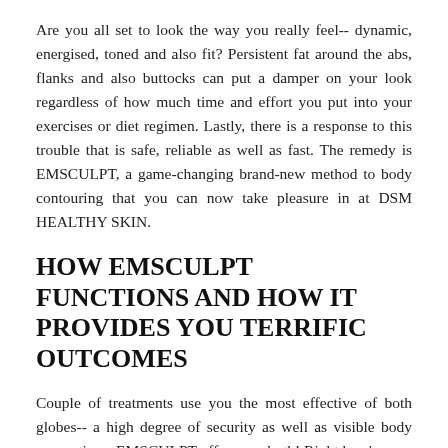Are you all set to look the way you really feel-- dynamic, energised, toned and also fit? Persistent fat around the abs, flanks and also buttocks can put a damper on your look regardless of how much time and effort you put into your exercises or diet regimen. Lastly, there is a response to this trouble that is safe, reliable as well as fast. The remedy is EMSCULPT, a game-changing brand-new method to body contouring that you can now take pleasure in at DSM HEALTHY SKIN.
HOW EMSCULPT FUNCTIONS AND HOW IT PROVIDES YOU TERRIFIC OUTCOMES
Couple of treatments use you the most effective of both globes-- a high degree of security as well as visible body renovations. EMSCULPT offers you both! Right here's